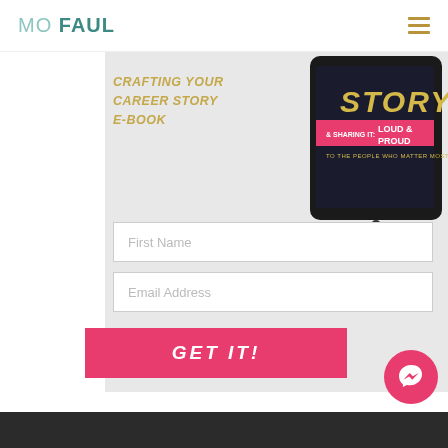MO FAUL
[Figure (screenshot): E-book promotional image showing tablet with 'Crafting Your Career Story - Loud & Proud' cover, with gold italic text 'CRAFTING YOUR CAREER STORY E-BOOK' and a form with First Name and Email Address fields and a pink GET IT! button]
CRAFTING YOUR CAREER STORY E-BOOK
First Name
Email Address
GET IT!